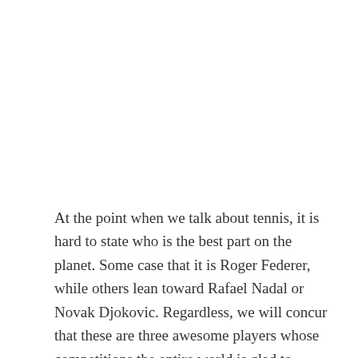At the point when we talk about tennis, it is hard to state who is the best part on the planet. Some case that it is Roger Federer, while others lean toward Rafael Nadal or Novak Djokovic. Regardless, we will concur that these are three awesome players whose competitions the entire world is glad to follow. NFL Odds If we talk about the Grand Slam competition, we can say that Djokovic has 17 successes, while Nadal and Federer are rise to and have 20. The unavoidable issue is, will Federer figure out how to win the 21st Grand Slam?